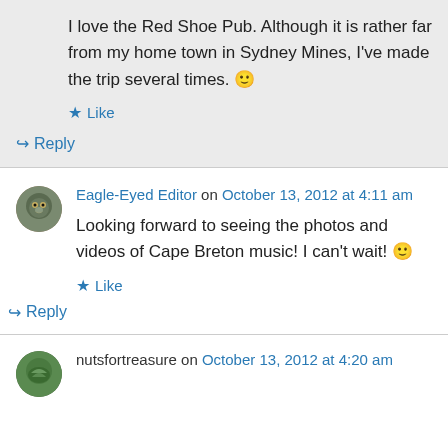I love the Red Shoe Pub. Although it is rather far from my home town in Sydney Mines, I've made the trip several times. 🙂
★ Like
↪ Reply
Eagle-Eyed Editor on October 13, 2012 at 4:11 am
Looking forward to seeing the photos and videos of Cape Breton music! I can't wait! 🙂
★ Like
↪ Reply
nutsfortreasure on October 13, 2012 at 4:20 am